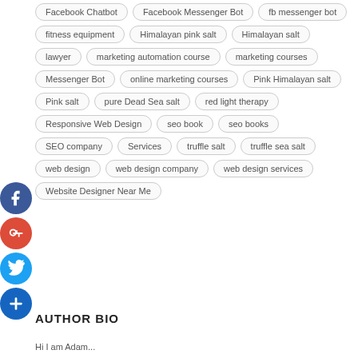Facebook Chatbot
Facebook Messenger Bot
fb messenger bot
fitness equipment
Himalayan pink salt
Himalayan salt
lawyer
marketing automation course
marketing courses
Messenger Bot
online marketing courses
Pink Himalayan salt
Pink salt
pure Dead Sea salt
red light therapy
Responsive Web Design
seo book
seo books
SEO company
Services
truffle salt
truffle sea salt
web design
web design company
web design services
Website Designer Near Me
AUTHOR BIO
Hi I am Adam...